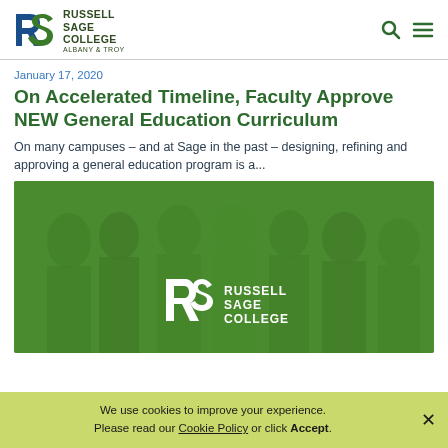Russell Sage College Albany & Troy — navigation header with logo, search icon, and menu icon
January 17, 2020
On Accelerated Timeline, Faculty Approve NEW General Education Curriculum
On many campuses – and at Sage in the past – designing, refining and approving a general education program is a...
[Figure (photo): Group photo of smiling students with a green overlay, Russell Sage College logo watermark visible in the lower center]
We use cookies to improve your experience. Please read our Cookie Policy or click Accept.